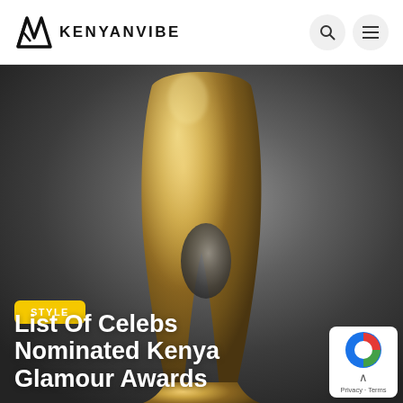KENYANVIBE
[Figure (photo): A tall golden metallic abstract award trophy sculpture on a gray gradient background]
STYLE
List Of Celebs Nominated Kenya Glamour Awards